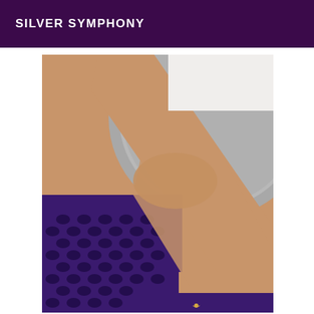SILVER SYMPHONY
[Figure (photo): Close-up photo of a person wearing a purple fishnet/mesh top and holding or wearing a large grey hat. A tanned arm extends across the frame. A small ankle bracelet or navel piercing is visible at the bottom.]